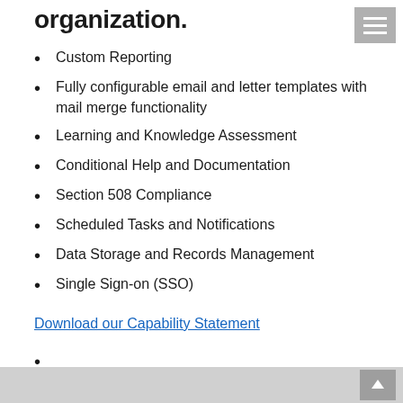organization.
Custom Reporting
Fully configurable email and letter templates with mail merge functionality
Learning and Knowledge Assessment
Conditional Help and Documentation
Section 508 Compliance
Scheduled Tasks and Notifications
Data Storage and Records Management
Single Sign-on (SSO)
Download our Capability Statement